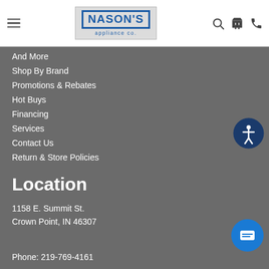[Figure (logo): Nason's Appliance Co. logo with blue text on grey background]
And More
Shop By Brand
Promotions & Rebates
Hot Buys
Financing
Services
Contact Us
Return & Store Policies
Location
1158 E. Summit St.
Crown Point, IN 46307
Phone: 219-769-4161